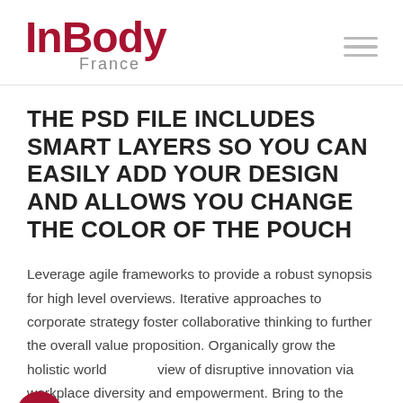InBody France
THE PSD FILE INCLUDES SMART LAYERS SO YOU CAN EASILY ADD YOUR DESIGN AND ALLOWS YOU CHANGE THE COLOR OF THE POUCH
Leverage agile frameworks to provide a robust synopsis for high level overviews. Iterative approaches to corporate strategy foster collaborative thinking to further the overall value proposition. Organically grow the holistic world view of disruptive innovation via workplace diversity and empowerment. Bring to the table